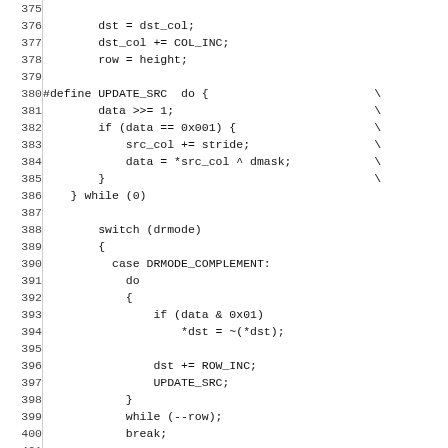Source code listing, lines 375-405, C/C++ code with line numbers